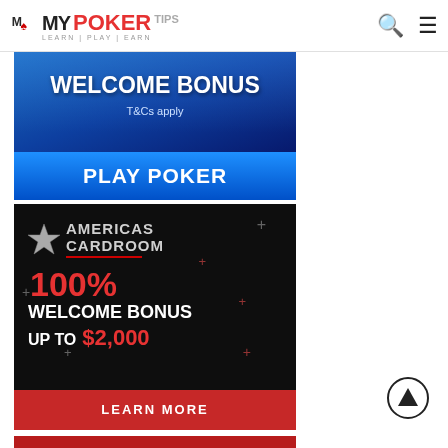My Poker Tips — LEARN | PLAY | EARN
[Figure (illustration): Welcome Bonus poker advertisement banner with blue gradient background, text 'WELCOME BONUS', 'T&Cs apply', and 'PLAY POKER' button]
[Figure (illustration): Americas Cardroom advertisement with dark background, star logo, '100% WELCOME BONUS UP TO $2,000' text, and red 'LEARN MORE' button]
[Figure (illustration): Partial red advertisement banner at bottom of page]